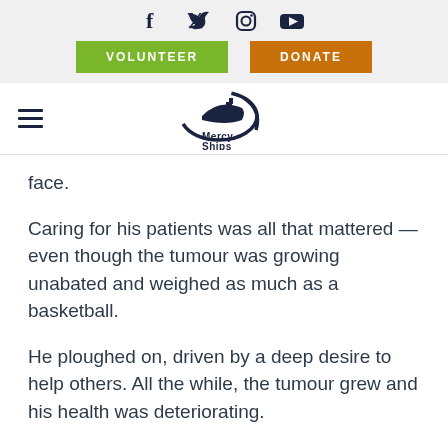[Figure (logo): Social media icons: Facebook, Twitter, Instagram, YouTube]
[Figure (other): Volunteer (green) and Donate (orange) buttons]
[Figure (logo): Mercy Ships logo — ship graphic with oval swoosh and text 'Mercy Ships']
face.
Caring for his patients was all that mattered — even though the tumour was growing unabated and weighed as much as a basketball.
He ploughed on, driven by a deep desire to help others. All the while, the tumour grew and his health was deteriorating.
He had been a practising nurse